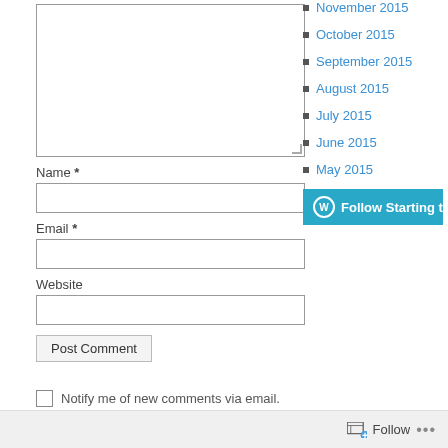[Figure (screenshot): Textarea input box (comment field) with resize handle at bottom-right]
Name *
[Figure (screenshot): Name text input field]
Email *
[Figure (screenshot): Email text input field]
Website
[Figure (screenshot): Website text input field]
[Figure (screenshot): Post Comment button]
Notify me of new comments via email.
November 2015
October 2015
September 2015
August 2015
July 2015
June 2015
May 2015
[Figure (screenshot): Follow Starting to Lo button (WordPress follow button, teal/cyan)]
Follow  ...